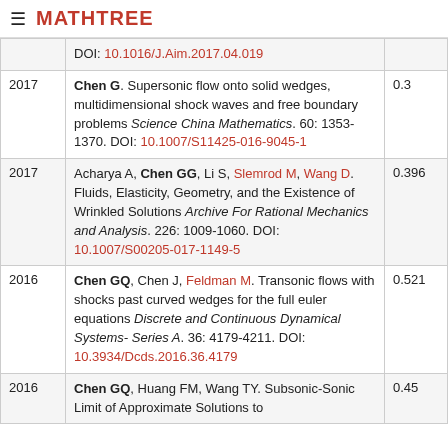≡ MATHTREE
| Year | Reference | Score |
| --- | --- | --- |
|  | DOI: 10.1016/J.Aim.2017.04.019 |  |
| 2017 | Chen G. Supersonic flow onto solid wedges, multidimensional shock waves and free boundary problems Science China Mathematics. 60: 1353-1370. DOI: 10.1007/S11425-016-9045-1 | 0.3 |
| 2017 | Acharya A, Chen GG, Li S, Slemrod M, Wang D. Fluids, Elasticity, Geometry, and the Existence of Wrinkled Solutions Archive For Rational Mechanics and Analysis. 226: 1009-1060. DOI: 10.1007/S00205-017-1149-5 | 0.396 |
| 2016 | Chen GQ, Chen J, Feldman M. Transonic flows with shocks past curved wedges for the full euler equations Discrete and Continuous Dynamical Systems- Series A. 36: 4179-4211. DOI: 10.3934/Dcds.2016.36.4179 | 0.521 |
| 2016 | Chen GQ, Huang FM, Wang TY. Subsonic-Sonic Limit of Approximate Solutions to | 0.45 |